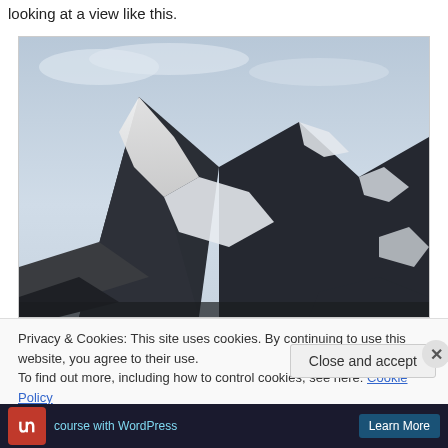looking at a view like this.
[Figure (photo): Mountain landscape with snow-covered peaks and glaciers against a cloudy sky. Dark rocky mountains with white snow patches and a glacier visible in the center.]
Privacy & Cookies: This site uses cookies. By continuing to use this website, you agree to their use.
To find out more, including how to control cookies, see here: Cookie Policy
Close and accept
course with WordPress
Learn More